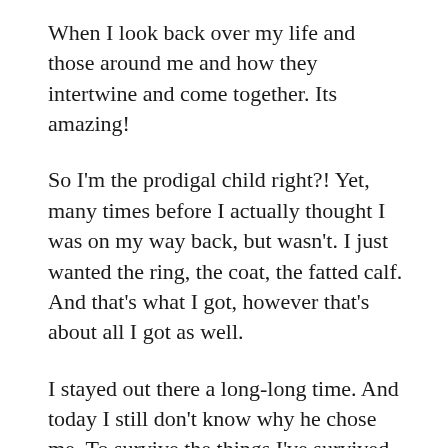When I look back over my life and those around me and how they intertwine and come together. Its amazing!
So I'm the prodigal child right?! Yet, many times before I actually thought I was on my way back, but wasn't. I just wanted the ring, the coat, the fatted calf. And that's what I got, however that's about all I got as well.
I stayed out there a long-long time. And today I still don't know why he chose me. To survive the things I've survived isn't very common today. I have to believe God has a calling on my life in